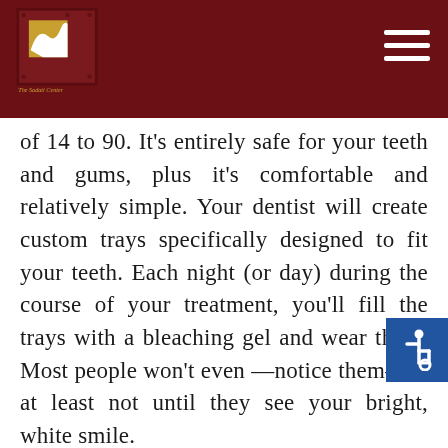[Figure (logo): The Sadati Center For Aesthetic Dentistry logo — decorative square logo with wave/shell motif in gold and dark red, with italic text below reading 'The Sadati Center For Aesthetic Dentistry']
of 14 to 90. It's entirely safe for your teeth and gums, plus it's comfortable and relatively simple. Your dentist will create custom trays specifically designed to fit your teeth. Each night (or day) during the course of your treatment, you'll fill the trays with a bleaching gel and wear them. Most people won't even —notice them—or at least not until they see your bright, white smile.